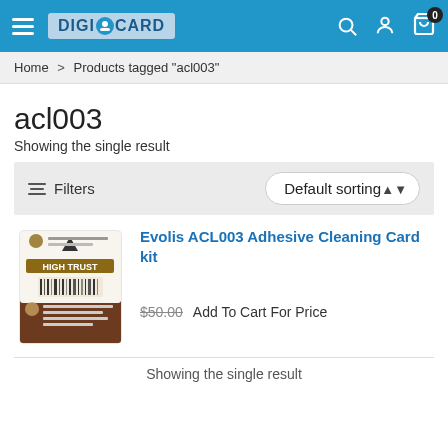DIGICARD
Home > Products tagged "acl003"
acl003
Showing the single result
Filters   Default sorting
[Figure (photo): Product image of Evolis ACL003 Adhesive Cleaning Card kit box]
Evolis ACL003 Adhesive Cleaning Card kit
$50.00  Add To Cart For Price
Showing the single result